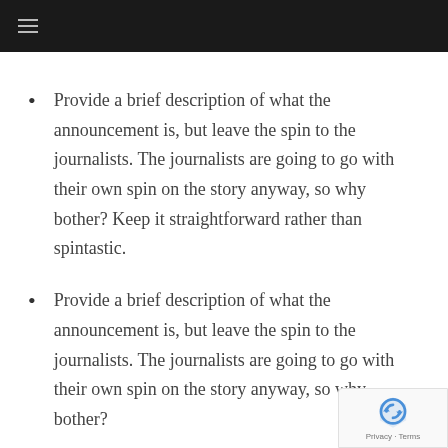≡
Provide a brief description of what the announcement is, but leave the spin to the journalists. The journalists are going to go with their own spin on the story anyway, so why bother? Keep it straightforward rather than spintastic.
Provide a brief description of what the announcement is, but leave the spin to the journalists. The journalists are going to go with their own spin on the story anyway, so why bother?